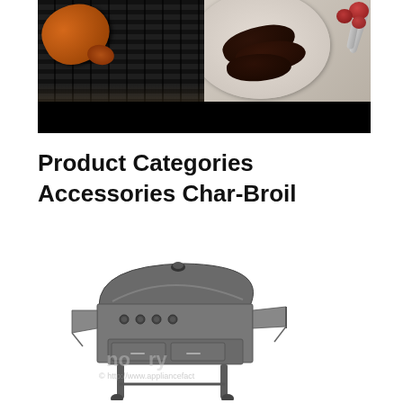[Figure (photo): Top banner image showing grilled chicken on a dark grill on the left, and a plate of cooked steaks with tongs and small red potatoes on the right, with a black bar at the bottom.]
Product Categories Accessories Char-Broil
[Figure (photo): Product photo of a Char-Broil gas grill with multiple burners, side shelf, cabinet doors, and a watermark overlay reading 'no' and '© http://www.appliancefact']